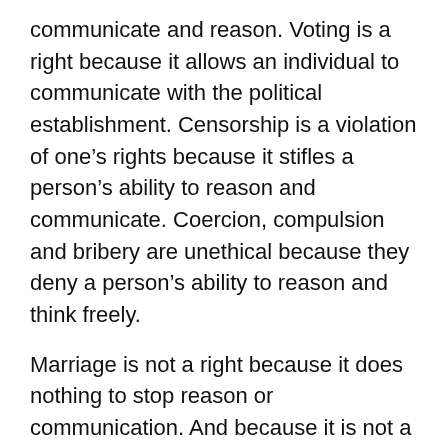communicate and reason. Voting is a right because it allows an individual to communicate with the political establishment. Censorship is a violation of one's rights because it stifles a person's ability to reason and communicate. Coercion, compulsion and bribery are unethical because they deny a person's ability to reason and think freely.
Marriage is not a right because it does nothing to stop reason or communication. And because it is not a right, the Supreme Court should restrain themselves and let the voice of the majority in California stand. In fact, the Supreme Court would violate the rights of the voters of California by overturning Proposition 8.
In this instance, gay and lesbian couples have not had their rights violated; they simply lost on a policy issue. Had the voters of California denied gays and lesbians the right to vote in the 2008 elections when Proposition 8 was on the ballot, or if California can show that...